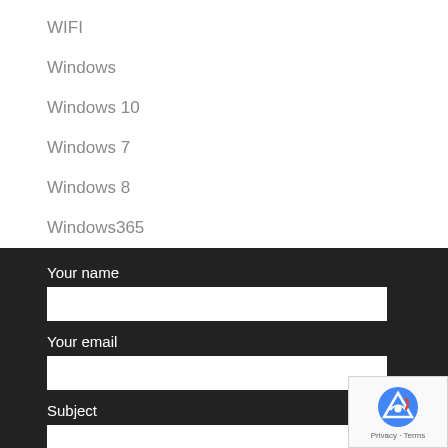WIFI
Windows
Windows 10
Windows 7
Windows 8
Windows365
Your name
Your email
Subject